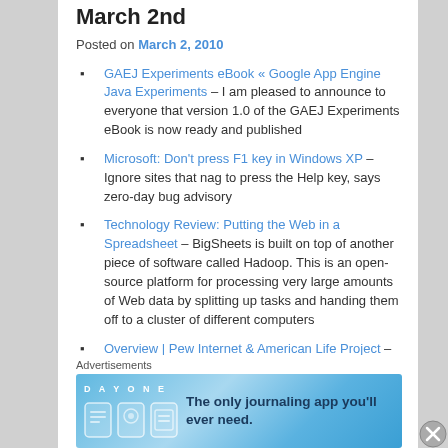March 2nd
Posted on March 2, 2010
GAEJ Experiments eBook « Google App Engine Java Experiments – I am pleased to announce to everyone that version 1.0 of the GAEJ Experiments eBook is now ready and published
Microsoft: Don't press F1 key in Windows XP – Ignore sites that nag to press the Help key, says zero-day bug advisory
Technology Review: Putting the Web in a Spreadsheet – BigSheets is built on top of another piece of software called Hadoop. This is an open-source platform for processing very large amounts of Web data by splitting up tasks and handing them off to a cluster of different computers
Overview | Pew Internet & American Life Project – The internet has surpassed newspapers and radio in…
Advertisements
[Figure (other): DayOne app advertisement banner: The only journaling app you'll ever need.]